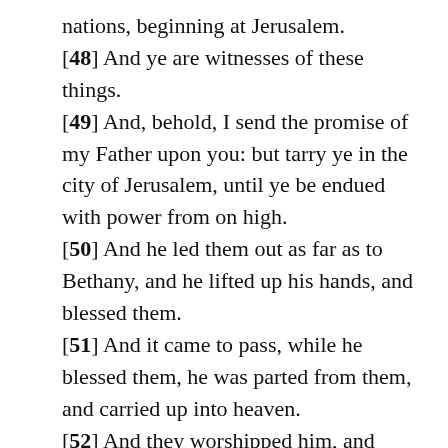nations, beginning at Jerusalem.
[48] And ye are witnesses of these things.
[49] And, behold, I send the promise of my Father upon you: but tarry ye in the city of Jerusalem, until ye be endued with power from on high.
[50] And he led them out as far as to Bethany, and he lifted up his hands, and blessed them.
[51] And it came to pass, while he blessed them, he was parted from them, and carried up into heaven.
[52] And they worshipped him, and returned to Jerusalem with great joy:
[53] And were continually in the temple, praising and blessing God. Amen.